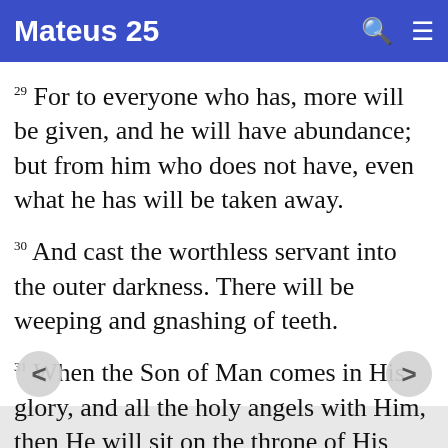Mateus 25
29 For to everyone who has, more will be given, and he will have abundance; but from him who does not have, even what he has will be taken away.
30 And cast the worthless servant into the outer darkness. There will be weeping and gnashing of teeth.
31 When the Son of Man comes in His glory, and all the holy angels with Him, then He will sit on the throne of His glory